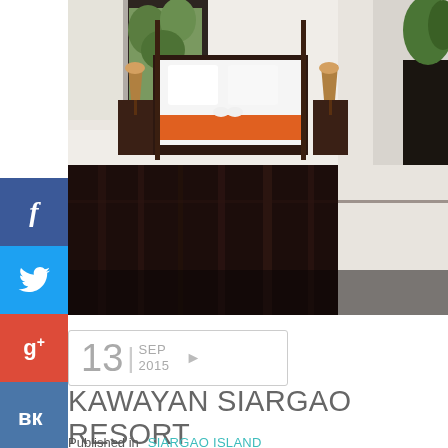[Figure (photo): Interior photo of a resort room with a wooden four-poster bed, white bedding with orange accents, two bedside lamps, and dark hardwood flooring. Large windows with green foliage visible outside on the right.]
13 | SEP 2015
KAWAYAN SIARGAO RESORT
Published in  SIARGAO ISLAND